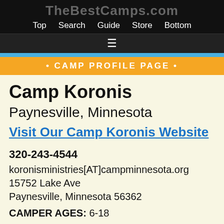TheBestCamps.com — Top Search Guide Store Bottom
• CAMP PROFILE PAGE •
Camp Koronis
Paynesville, Minnesota
Visit Our Camp Koronis Website
320-243-4544
koronisministries[AT]campminnesota.org
15752 Lake Ave
Paynesville, Minnesota 56362
CAMPER AGES: 6-18
TYPE OF CAMP: Overnight/Sleepaway